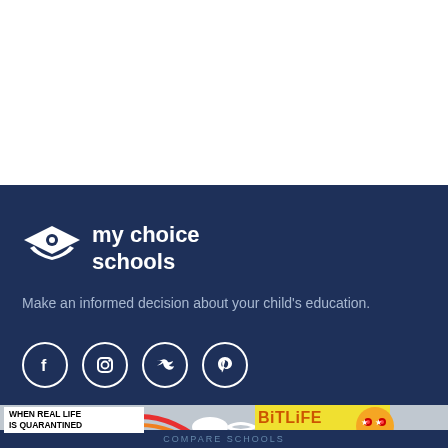[Figure (logo): My Choice Schools logo with graduation cap icon and text 'my choice schools' in white on dark blue background]
Make an informed decision about your child’s education.
[Figure (infographic): Social media icons: Facebook, Instagram, Twitter, Pinterest in white circles on dark blue background]
[Figure (screenshot): BitLife advertisement banner: 'WHEN REAL LIFE IS QUARANTINED' text with rainbow and BitLife game logo]
COMPARE SCHOOLS